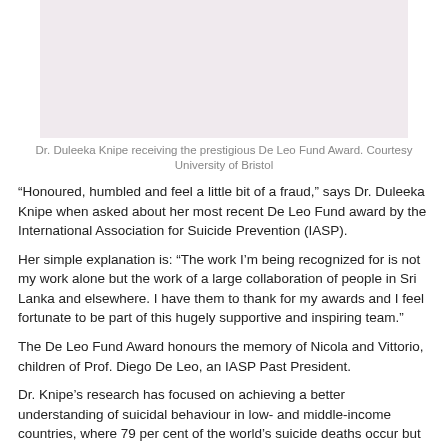[Figure (photo): Photo of Dr. Duleeka Knipe receiving the prestigious De Leo Fund Award, courtesy University of Bristol. Light pinkish-grey placeholder area.]
Dr. Duleeka Knipe receiving the prestigious De Leo Fund Award. Courtesy University of Bristol
“Honoured, humbled and feel a little bit of a fraud,” says Dr. Duleeka Knipe when asked about her most recent De Leo Fund award by the International Association for Suicide Prevention (IASP).
Her simple explanation is: “The work I’m being recognized for is not my work alone but the work of a large collaboration of people in Sri Lanka and elsewhere. I have them to thank for my awards and I feel fortunate to be part of this hugely supportive and inspiring team.”
The De Leo Fund Award honours the memory of Nicola and Vittorio, children of Prof. Diego De Leo, an IASP Past President.
Dr. Knipe’s research has focused on achieving a better understanding of suicidal behaviour in low- and middle-income countries, where 79 per cent of the world’s suicide deaths occur but which attract only a fraction of mental health research funding.
Her interest had been triggered when she was appointed research co-ordinator on the world’s largest randomised trial in suicide prevention initiative – a cluster